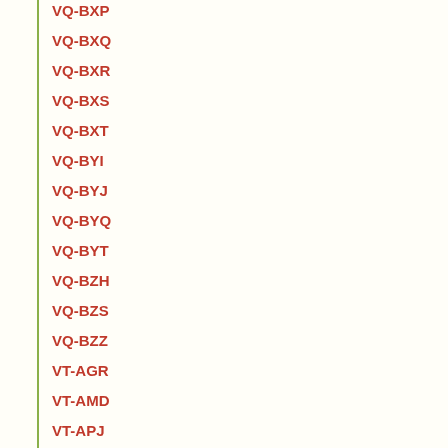VQ-BXP
VQ-BXQ
VQ-BXR
VQ-BXS
VQ-BXT
VQ-BYI
VQ-BYJ
VQ-BYQ
VQ-BYT
VQ-BZH
VQ-BZS
VQ-BZZ
VT-AGR
VT-AMD
VT-APJ